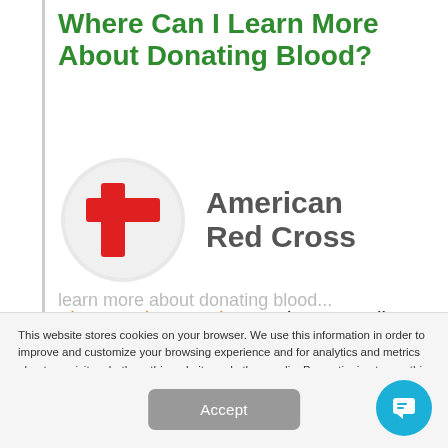Where Can I Learn More About Donating Blood?
[Figure (logo): American Red Cross logo — circular white/light grey badge with a red cross symbol, next to bold grey text reading 'American Red Cross']
The American Red Cross is an excellent source of information to learn more about donating blood.
This website stores cookies on your browser. We use this information in order to improve and customize your browsing experience and for analytics and metrics about our visitors both on this website and other media. By continuing to use this website, you're allowing us to store cookies on your browser.